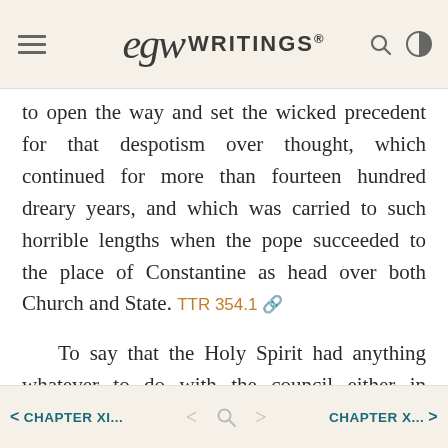EGW WRITINGS®
to open the way and set the wicked precedent for that despotism over thought, which continued for more than fourteen hundred dreary years, and which was carried to such horrible lengths when the pope succeeded to the place of Constantine as head over both Church and State. TTR 354.1
To say that the Holy Spirit had anything whatever to do with the council either in discussing or deciding the question or in any other way, is but to argue that the Holy Spirit of God is but the subject and tool of the unholy passions of ambitious and wicked men. TTR 354.2
< CHAPTER XI... < [search] > CHAPTER X... >